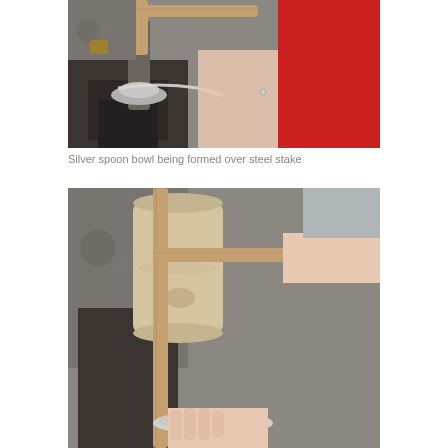[Figure (photo): A person in a red top forming a silver spoon bowl over a steel stake mounted on a heavy metal vise. A wooden mallet/handle is visible at the top. The silversmithing tools and workshop background are visible.]
Silver spoon bowl being formed over steel stake
[Figure (photo): Close-up of a rawhide/wooden mallet being used to hammer a silver spoon bowl, held by a person's hand. Workshop background visible with metalworking equipment.]